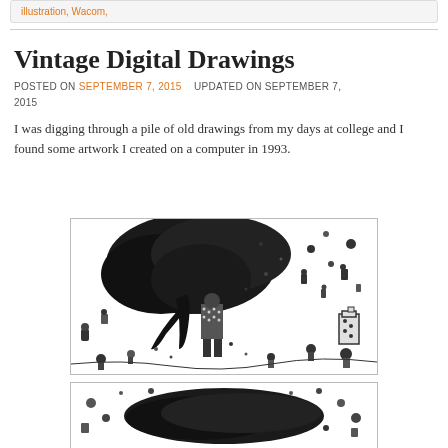illustration, Wacom,
Vintage Digital Drawings
POSTED ON SEPTEMBER 7, 2015   UPDATED ON SEPTEMBER 7, 2015
I was digging through a pile of old drawings from my days at college and I found some artwork I created on a computer in 1993.
[Figure (illustration): A detailed black and white digital illustration from 1993 featuring a large tree with dense foliage, a central figure with a speckled/dotted pattern outfit, and many small cartoon-like characters, creatures, and objects scattered throughout the scene.]
[Figure (illustration): A second black and white digital illustration from 1993, partially visible, showing dense cartoon-like imagery with a dark central element and various small figures.]